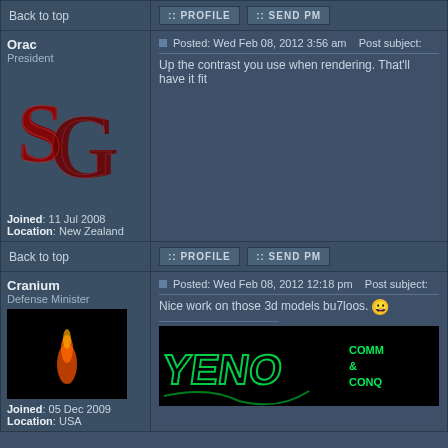Back to top
:: PROFILE  :: SEND PM
Orac
President
Joined: 11 Jul 2008
Location: New Zealand
[Figure (logo): SG logo in dark red/maroon gothic letters on blue-grey background]
Posted: Wed Feb 08, 2012 3:56 am    Post subject:
Up the contrast you use when rendering. That'll have it fit
Back to top
:: PROFILE  :: SEND PM
Cranium
Defense Minister
Joined: 05 Dec 2009
Location: USA
[Figure (photo): Small avatar image showing orange figure on black background]
Posted: Wed Feb 08, 2012 12:18 pm    Post subject:
Nice work on those 3d models bu7loos. 😀
[Figure (screenshot): Command and Conquer game screenshot showing green Nod/Yuri logo text on black background]